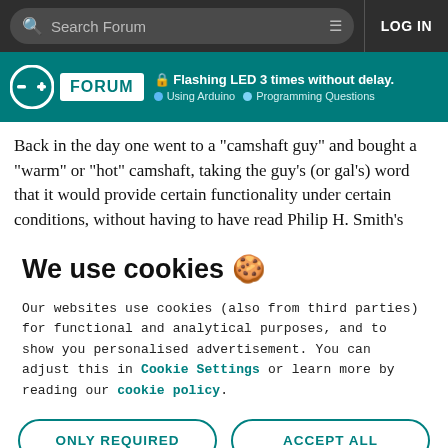Search Forum   LOG IN
Flashing LED 3 times without delay. Using Arduino · Programming Questions
Back in the day one went to a "camshaft guy" and bought a "warm" or "hot" camshaft, taking the guy's (or gal's) word that it would provide certain functionality under certain conditions, without having to have read Philip H. Smith's
We use cookies 🍪
Our websites use cookies (also from third parties) for functional and analytical purposes, and to show you personalised advertisement. You can adjust this in Cookie Settings or learn more by reading our cookie policy.
ONLY REQUIRED   ACCEPT ALL